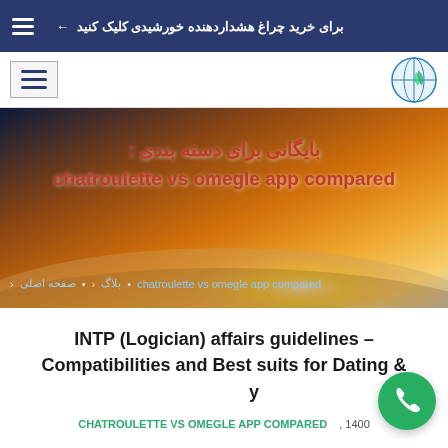برای خرید چراغ هشداردهنده خورشیدی کلیک کنید ←
[Figure (screenshot): Navigation bar with hamburger menu icon on left and site logo on right]
[Figure (photo): Hero banner with gradient background (dark to orange/gold sky), Persian title text and breadcrumb navigation. Title reads: بایگانی برای دسته بندی: chatroulette vs omegle app compared]
INTP (Logician) affairs guidelines – Compatibilities and Best suits for Dating & ‌...y
CHATROULETTE VS OMEGLE APP COMPARED   1400 ,‌...